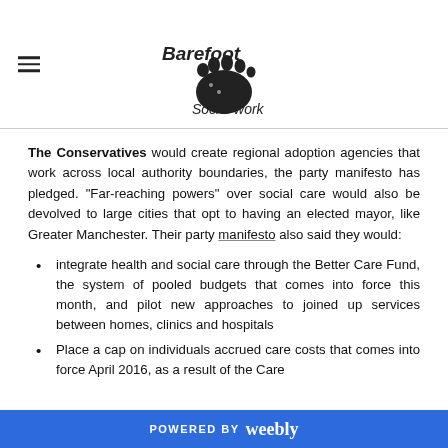Barefoot Social work
The Conservatives would create regional adoption agencies that work across local authority boundaries, the party manifesto has pledged. "Far-reaching powers" over social care would also be devolved to large cities that opt to having an elected mayor, like Greater Manchester. Their party manifesto also said they would:
integrate health and social care through the Better Care Fund, the system of pooled budgets that comes into force this month, and pilot new approaches to joined up services between homes, clinics and hospitals
Place a cap on individuals accrued care costs that comes into force April 2016, as a result of the Care
POWERED BY weebly